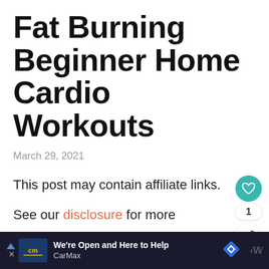Fat Burning Beginner Home Cardio Workouts
March 29, 2021
This post may contain affiliate links.
See our disclosure for more information
7 Serious Fat Burning Beginner
[Figure (other): CarMax advertisement bar at bottom of page with logo, 'We're Open and Here to Help' text, CarMax name, and blue diamond navigation icon]